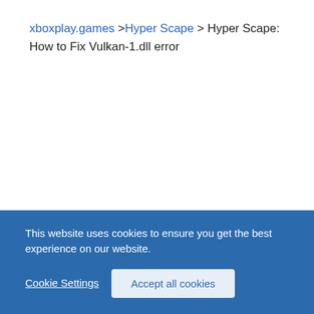xboxplay.games >Hyper Scape > Hyper Scape: How to Fix Vulkan-1.dll error
This website uses cookies to ensure you get the best experience on our website.
Cookie Settings
Accept all cookies